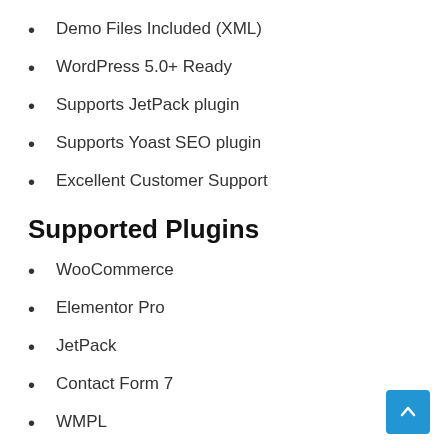Demo Files Included (XML)
WordPress 5.0+ Ready
Supports JetPack plugin
Supports Yoast SEO plugin
Excellent Customer Support
Supported Plugins
WooCommerce
Elementor Pro
JetPack
Contact Form 7
WMPL
Polylang